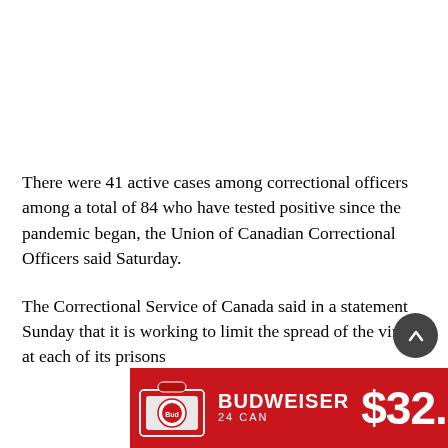There were 41 active cases among correctional officers among a total of 84 who have tested positive since the pandemic began, the Union of Canadian Correctional Officers said Saturday.
The Correctional Service of Canada said in a statement Sunday that it is working to limit the spread of the virus at each of its prisons
[Figure (other): Budweiser 24 CAN advertisement banner showing beer case and price $32.98 on red background]